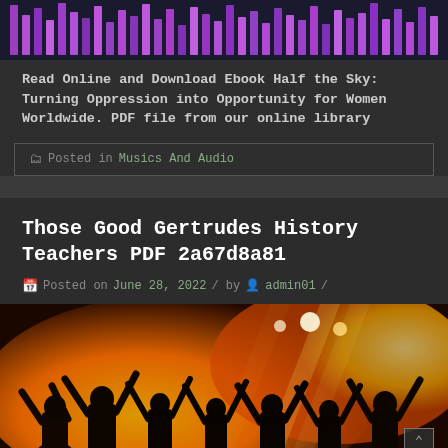[Figure (screenshot): Top portion showing purple/magenta audio visualizer bars on dark background]
Read Online and Download Ebook Half the Sky: Turning Oppression into Opportunity for Women Worldwide. PDF file from our online library
Posted in Musics And Audio
Those Good Gertrudes History Teachers PDF 2a67d8a81
Posted on June 28, 2022 / by  admin01 /
[Figure (photo): Concert crowd photo with hands raised, orange/yellow stage lighting, concert atmosphere]